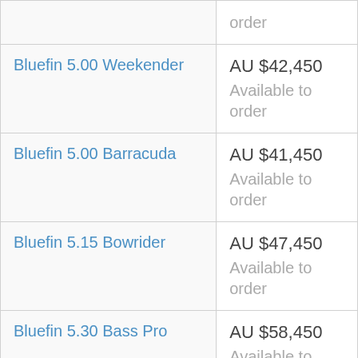| Product | Price |
| --- | --- |
|  | order |
| Bluefin 5.00 Weekender | AU $42,450
Available to order |
| Bluefin 5.00 Barracuda | AU $41,450
Available to order |
| Bluefin 5.15 Bowrider | AU $47,450
Available to order |
| Bluefin 5.30 Bass Pro | AU $58,450
Available to order |
| Bluefin 5.35 Wildcat Pro | AU $57,450
Available to order |